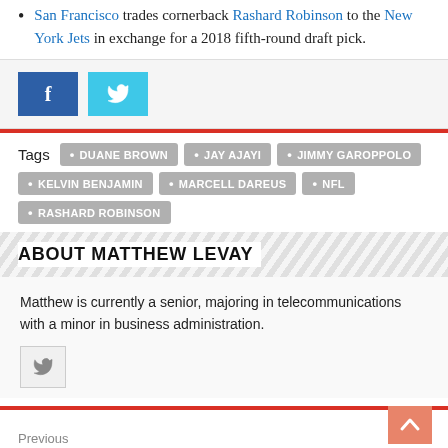San Francisco trades cornerback Rashard Robinson to the New York Jets in exchange for a 2018 fifth-round draft pick.
[Figure (other): Social sharing buttons: Facebook (blue) and Twitter (light blue)]
Tags  DUANE BROWN  JAY AJAYI  JIMMY GAROPPOLO  KELVIN BENJAMIN  MARCELL DAREUS  NFL  RASHARD ROBINSON
ABOUT MATTHEW LEVAY
Matthew is currently a senior, majoring in telecommunications with a minor in business administration.
[Figure (other): Twitter icon small button]
Previous